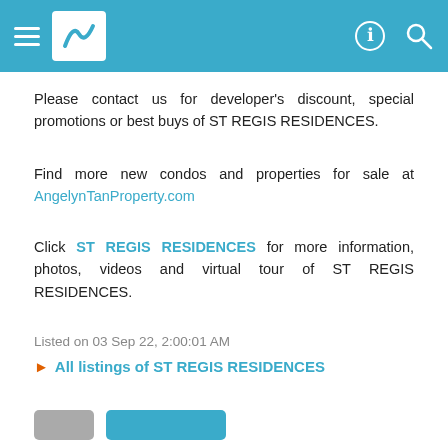Navigation header with logo and icons
Please contact us for developer's discount, special promotions or best buys of ST REGIS RESIDENCES.
Find more new condos and properties for sale at AngelynTanProperty.com
Click ST REGIS RESIDENCES for more information, photos, videos and virtual tour of ST REGIS RESIDENCES.
Listed on 03 Sep 22, 2:00:01 AM
► All listings of ST REGIS RESIDENCES